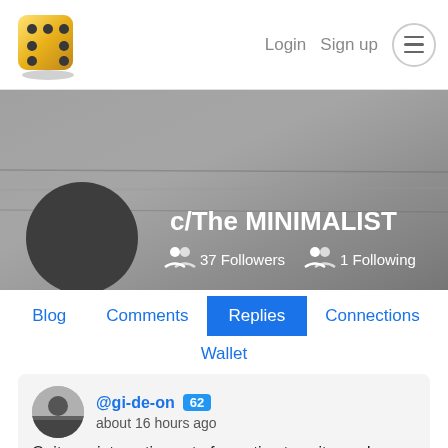Login  Sign up  ☰
[Figure (screenshot): Community profile banner with gray textured background, dark circular avatar placeholder, community name c/The MINIMALIST, 37 Followers and 1 Following stats]
c/The MINIMALIST
37 Followers   1 Following
Blog  Comments  Replies  Connections  Wallet
@gi-de-on  62  about 16 hours ago
Quite an interesting set of question to write on. I am